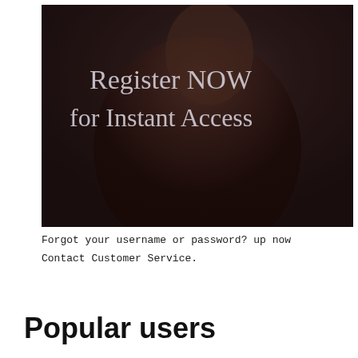[Figure (photo): Dark-toned photo of a person with text overlay reading 'Register NOW for Instant Access' in large serif font on a pinkish background banner]
Forgot your username or password? up now
Contact Customer Service.
Popular users